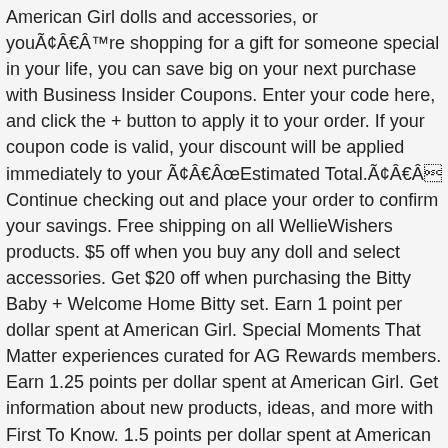American Girl dolls and accessories, or you're shopping for a gift for someone special in your life, you can save big on your next purchase with Business Insider Coupons. Enter your code here, and click the + button to apply it to your order. If your coupon code is valid, your discount will be applied immediately to your "Estimated Total." Continue checking out and place your order to confirm your savings. Free shipping on all WellieWishers products. $5 off when you buy any doll and select accessories. Get $20 off when purchasing the Bitty Baby + Welcome Home Bitty set. Earn 1 point per dollar spent at American Girl. Special Moments That Matter experiences curated for AG Rewards members. Earn 1.25 points per dollar spent at American Girl. Get information about new products, ideas, and more with First To Know. 1.5 points per dollar spent at American Girl. Costco Toys Over $40: Playstation 4 or XBox One Marvel Avengers Game – $49.99. Selection may vary. Up to $60 Off American Girl - Use on Bitty Baby… Also, you may find a different model you like better.